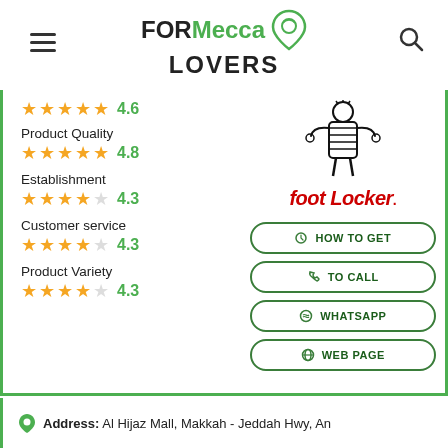FOR Mecca LOVERS
[Figure (logo): Foot Locker logo with referee figure and red italic text 'foot Locker.']
Product Quality 4.8
Establishment 4.3
Customer service 4.3
Product Variety 4.3
HOW TO GET
TO CALL
WHATSAPP
WEB PAGE
Address: Al Hijaz Mall, Makkah - Jeddah Hwy, An